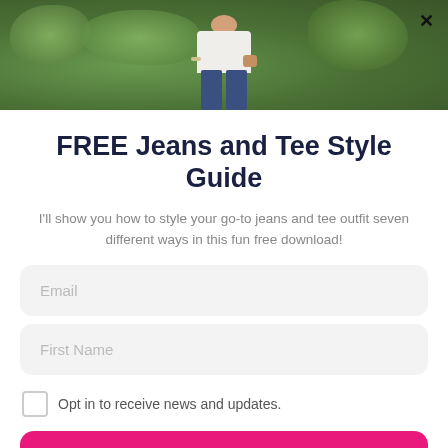[Figure (photo): Person wearing jeans and white tee with crossbody bag, standing in front of green leafy background. Close/X button in top right corner.]
FREE Jeans and Tee Style Guide
I'll show you how to style your go-to jeans and tee outfit seven different ways in this fun free download!
Email
First Name
Opt in to receive news and updates.
Send it to me!